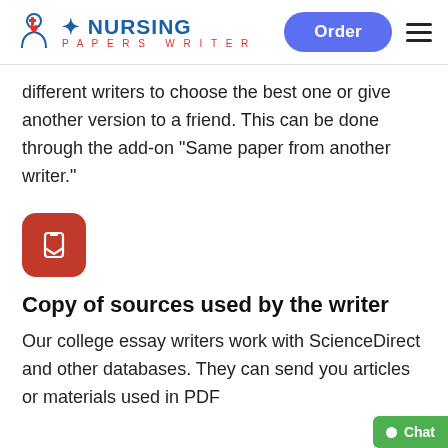NURSING Papers Writer | Order
different writers to choose the best one or give another version to a friend. This can be done through the add-on "Same paper from another writer."
[Figure (logo): Red rounded square icon with a white bookmark/ribbon symbol]
Copy of sources used by the writer
Our college essay writers work with ScienceDirect and other databases. They can send you articles or materials used in PDF through screenshots. Just tick the "Copy of...